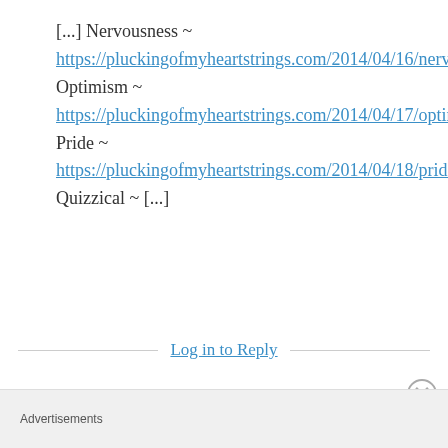[...] Nervousness ~ https://pluckingofmyheartstrings.com/2014/04/16/nervousness/ Optimism ~ https://pluckingofmyheartstrings.com/2014/04/17/optimism/ Pride ~ https://pluckingofmyheartstrings.com/2014/04/18/pride/ Quizzical ~ [...]
Log in to Reply
Advertisements